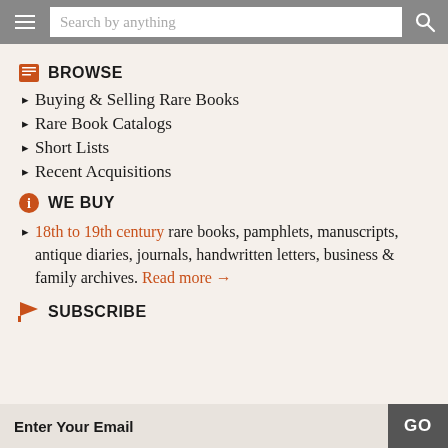[Figure (screenshot): Search bar with hamburger menu icon on left and magnifying glass icon on right]
BROWSE
Buying & Selling Rare Books
Rare Book Catalogs
Short Lists
Recent Acquisitions
WE BUY
18th to 19th century rare books, pamphlets, manuscripts, antique diaries, journals, handwritten letters, business & family archives. Read more →
SUBSCRIBE
Enter Your Email